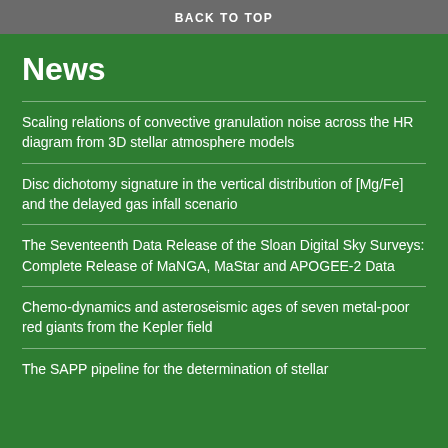BACK TO TOP
News
Scaling relations of convective granulation noise across the HR diagram from 3D stellar atmosphere models
Disc dichotomy signature in the vertical distribution of [Mg/Fe] and the delayed gas infall scenario
The Seventeenth Data Release of the Sloan Digital Sky Surveys: Complete Release of MaNGA, MaStar and APOGEE-2 Data
Chemo-dynamics and asteroseismic ages of seven metal-poor red giants from the Kepler field
The SAPP pipeline for the determination of stellar